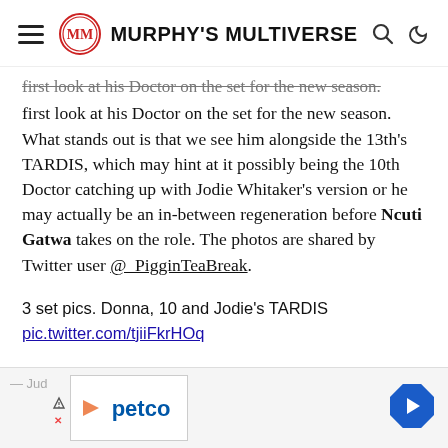Murphy's Multiverse
first look at his Doctor on the set for the new season. What stands out is that we see him alongside the 13th's TARDIS, which may hint at it possibly being the 10th Doctor catching up with Jodie Whitaker's version or he may actually be an in-between regeneration before Ncuti Gatwa takes on the role. The photos are shared by Twitter user @_PigginTeaBreak.
3 set pics. Donna, 10 and Jodie’s TARDIS pic.twitter.com/tjiiFkrHOq
— Jud
[Figure (screenshot): Advertisement banner with Petco logo and navigation arrow icon]